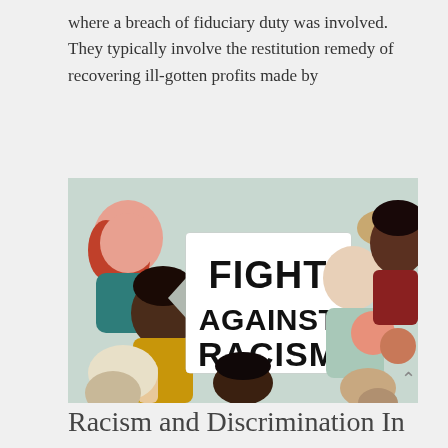where a breach of fiduciary duty was involved. They typically involve the restitution remedy of recovering ill-gotten profits made by
[Figure (illustration): Colorful illustration of diverse people of different skin tones and hair styles surrounding a central banner sign that reads 'FIGHT AGAINST RACISM' in bold black text on white background.]
Racism and Discrimination In